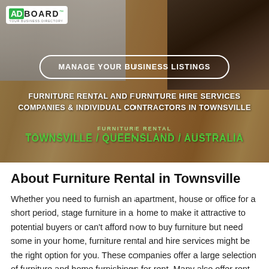[Figure (photo): Hero banner image showing furniture legs on a wooden floor background with ADBOARD logo, a 'Manage Your Business Listings' button, and text about furniture rental services in Townsville, Queensland, Australia.]
About Furniture Rental in Townsville
Whether you need to furnish an apartment, house or office for a short period, stage furniture in a home to make it attractive to potential buyers or can't afford now to buy furniture but need some in your home, furniture rental and hire services might be the right option for you. These companies offer a large selection of furniture and home furnishings for rent. Many also offer rent to own or purchase options once you